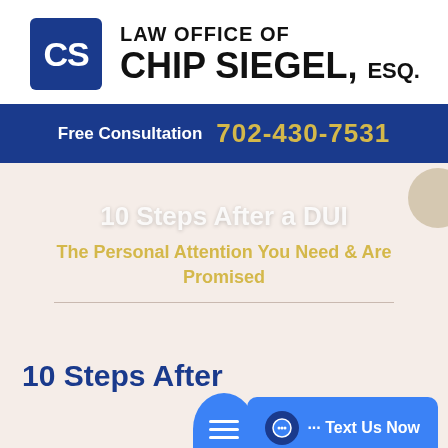[Figure (logo): Law Office of Chip Siegel, Esq. logo with blue CS monogram box and firm name in bold text]
Free Consultation 702-430-7531
10 Steps After a DUI
The Personal Attention You Need & Are Promised
10 Steps After